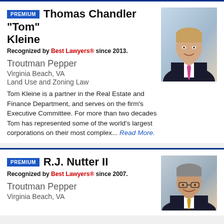PREMIUM  Thomas Chandler "Tom" Kleine
Recognized by Best Lawyers® since 2013.
Troutman Pepper
Virginia Beach, VA
Land Use and Zoning Law
Tom Kleine is a partner in the Real Estate and Finance Department, and serves on the firm's Executive Committee. For more than two decades Tom has represented some of the world's largest corporations on their most complex... Read More.
[Figure (photo): Professional headshot of Thomas Chandler Tom Kleine, a man in a dark suit with a pink striped tie, smiling, against a light outdoor background.]
PREMIUM  R.J. Nutter II
Recognized by Best Lawyers® since 2007.
Troutman Pepper
Virginia Beach, VA
[Figure (photo): Professional headshot of R.J. Nutter II, a man with glasses in a dark suit, smiling, against a light background.]